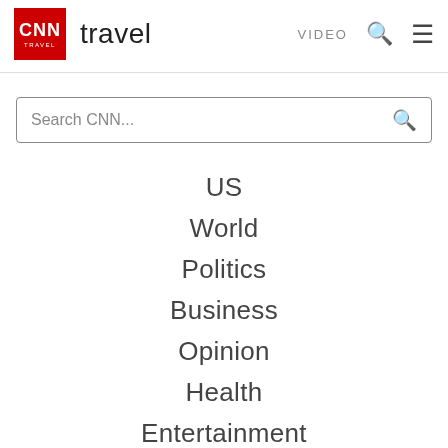CNN travel — VIDEO
[Figure (screenshot): Search CNN... search box with magnifying glass icon]
US
World
Politics
Business
Opinion
Health
Entertainment
Tech
Style